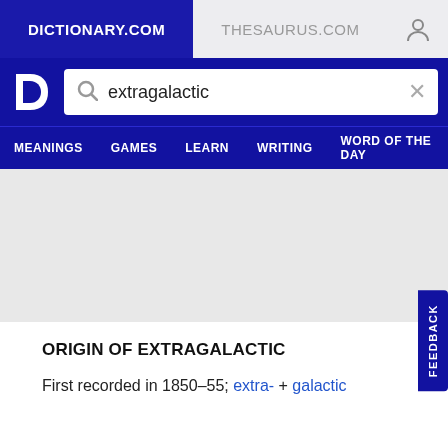DICTIONARY.COM | THESAURUS.COM
extragalactic
MEANINGS  GAMES  LEARN  WRITING  WORD OF THE DAY
ORIGIN OF EXTRAGALACTIC
First recorded in 1850–55; extra- + galactic